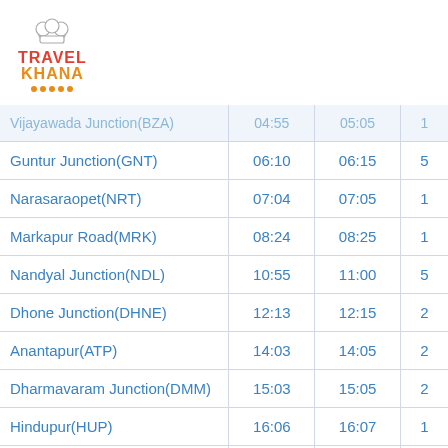Travel Khana logo
| Station | Arrival | Departure | Halt |
| --- | --- | --- | --- |
| Vijayawada Junction(BZA) | 04:55 | 05:05 | 1 |
| Guntur Junction(GNT) | 06:10 | 06:15 | 5 |
| Narasaraopet(NRT) | 07:04 | 07:05 | 1 |
| Markapur Road(MRK) | 08:24 | 08:25 | 1 |
| Nandyal Junction(NDL) | 10:55 | 11:00 | 5 |
| Dhone Junction(DHNE) | 12:13 | 12:15 | 2 |
| Anantapur(ATP) | 14:03 | 14:05 | 2 |
| Dharmavaram Junction(DMM) | 15:03 | 15:05 | 2 |
| Hindupur(HUP) | 16:06 | 16:07 | 1 |
| Yelahanka Junction(YNK) | 17:56 | 17:58 | 2 |